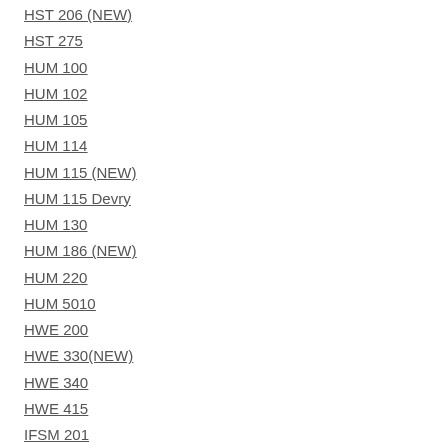HST 206 (NEW)
HST 275
HUM 100
HUM 102
HUM 105
HUM 114
HUM 115 (NEW)
HUM 115 Devry
HUM 130
HUM 186 (NEW)
HUM 220
HUM 5010
HWE 200
HWE 330(NEW)
HWE 340
HWE 415
IFSM 201
IFSM 370
IFSM 438